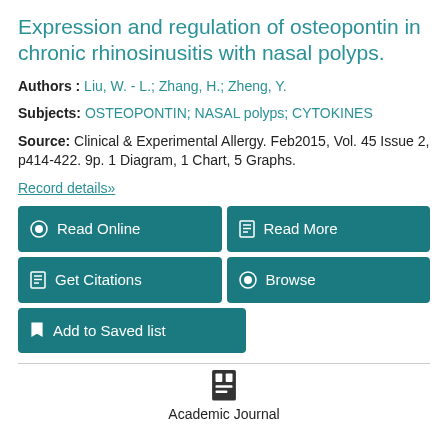Expression and regulation of osteopontin in chronic rhinosinusitis with nasal polyps.
Authors : Liu, W. - L.; Zhang, H.; Zheng, Y.
Subjects: OSTEOPONTIN; NASAL polyps; CYTOKINES
Source: Clinical & Experimental Allergy. Feb2015, Vol. 45 Issue 2, p414-422. 9p. 1 Diagram, 1 Chart, 5 Graphs.
Record details»
Read Online
Read More
Get Citations
Browse
Add to Saved list
Academic Journal